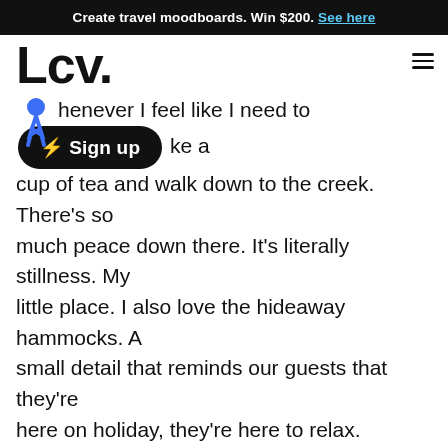Create travel moodboards. Win $200. See here
Lcv.
Whenever I feel like I need to [sign up] make a cup of tea and walk down to the creek. There’s so much peace down there. It’s literally stillness. My little place. I also love the hideaway hammocks. A small detail that reminds our guests that they’re here on holiday, they’re here to relax.
[Figure (photo): Outdoor forest/bush scene viewed through green and yellow leaves in foreground, with tall eucalyptus trees and a tent/structure partially visible below]